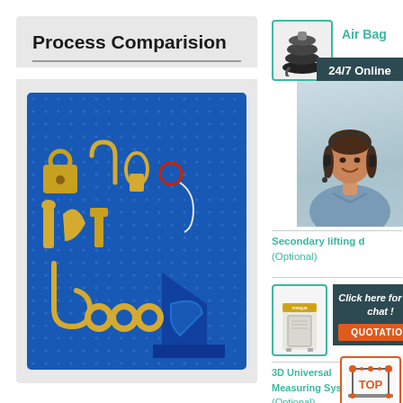Process Comparision
[Figure (photo): Blue pegboard tool display showing various brass tools, locks, hooks, chains, and hardware mounted on a blue metal board]
[Figure (photo): Air bag product thumbnail - stacked rubber air springs]
Air Bag
24/7 Online
[Figure (photo): Customer service representative wearing headset, smiling]
Secondary lifting d (Optional)
[Figure (photo): Electric machine/equipment unit thumbnail]
Elect
Click here for free chat !
QUOTATION
3D Universal Measuring System (Optional)
[Figure (illustration): 3D Universal Measuring System illustration with TOP logo/badge]